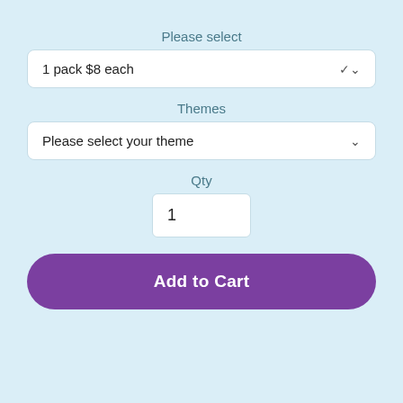Please select
1 pack $8 each
Themes
Please select your theme
Qty
1
Add to Cart